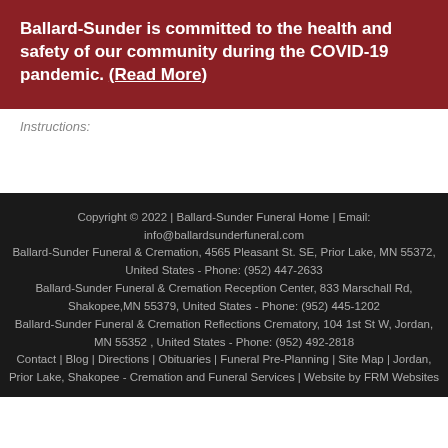Ballard-Sunder is committed to the health and safety of our community during the COVID-19 pandemic. (Read More)
Instructions:
Copyright © 2022 | Ballard-Sunder Funeral Home | Email: info@ballardsunderfuneral.com
Ballard-Sunder Funeral & Cremation, 4565 Pleasant St. SE, Prior Lake, MN 55372, United States - Phone: (952) 447-2633
Ballard-Sunder Funeral & Cremation Reception Center, 833 Marschall Rd, Shakopee,MN 55379, United States - Phone: (952) 445-1202
Ballard-Sunder Funeral & Cremation Reflections Crematory, 104 1st St W, Jordan, MN 55352 , United States - Phone: (952) 492-2818
Contact | Blog | Directions | Obituaries | Funeral Pre-Planning | Site Map | Jordan, Prior Lake, Shakopee - Cremation and Funeral Services | Website by FRM Websites